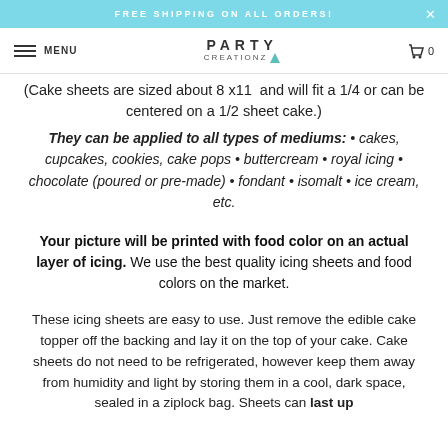FREE SHIPPING ON ALL ORDERS!
MENU | PARTY CREATIONZ | 0
(Cake sheets are sized about 8 x11  and will fit a 1/4 or can be centered on a 1/2 sheet cake.)
They can be applied to all types of mediums: • cakes, cupcakes, cookies, cake pops • buttercream • royal icing • chocolate (poured or pre-made) • fondant • isomalt • ice cream, etc.
Your picture will be printed with food color on an actual layer of icing. We use the best quality icing sheets and food colors on the market.
These icing sheets are easy to use. Just remove the edible cake topper off the backing and lay it on the top of your cake. Cake sheets do not need to be refrigerated, however keep them away from humidity and light by storing them in a cool, dark space, sealed in a ziplock bag. Sheets can last up